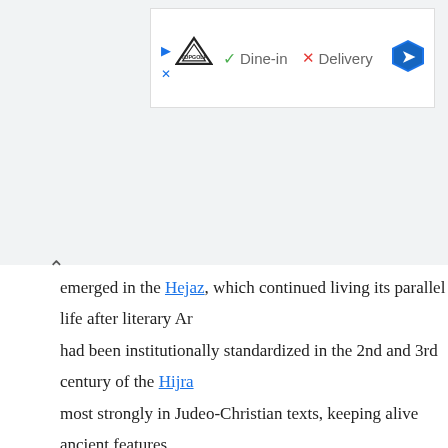[Figure (screenshot): Advertisement banner for Topgolf showing Dine-in checkmark and Delivery X mark with a direction arrow icon]
emerged in the Hejaz, which continued living its parallel life after literary Ar had been institutionally standardized in the 2nd and 3rd century of the Hijra most strongly in Judeo-Christian texts, keeping alive ancient features eliminated from the "learned" tradition (Classical Arabic).[33] This variety an both its classicizing and "lay" iterations have been termed Middle Arabic in past, but they are thought to continue an Old Higazi register. It is clear that orthography of the Qur'an was not developed for the standardized form of Classical Arabic; rather, it shows the attempt on the part of writers to recor archaic form of Old Higazi.